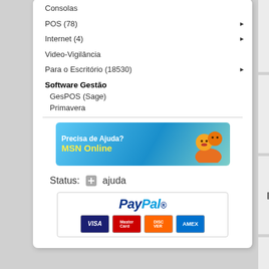Consolas
POS (78) ▶
Internet (4) ▶
Video-Vigilância
Para o Escritório (18530) ▶
Software Gestão
GesPOS (Sage)
Primavera
[Figure (screenshot): MSN Online help banner with avatar - Precisa de Ajuda? MSN Online]
Status:   ajuda
[Figure (logo): PayPal logo with credit card icons: VISA, MasterCard, Discover, Amex]
Office 2007 Basic P...
Office 2007 Home a...
[Figure (photo): Pencil/product image thumbnail]
Office 2007 Profess...
[Figure (photo): Pencil/product image thumbnail]
Office 2007 Profess...
Mostra 1 to 6 (of 6 produtos)
[Figure (screenshot): Search input box]
PESQUISA
+ Pesquisa avançada